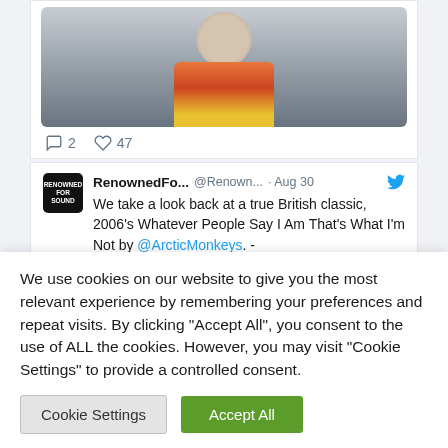[Figure (photo): Partial view of a tweet card showing a cropped photo of a man wearing an orange/red/yellow jacket against a grey background]
2   47
[Figure (screenshot): Tweet from RenownedFo... @Renown... · Aug 30: We take a look back at a true British classic, 2006's Whatever People Say I Am That's What I'm Not by @ArcticMonkeys. - renownedforsound.com/record-rewind]
We use cookies on our website to give you the most relevant experience by remembering your preferences and repeat visits. By clicking "Accept All", you consent to the use of ALL the cookies. However, you may visit "Cookie Settings" to provide a controlled consent.
Cookie Settings   Accept All